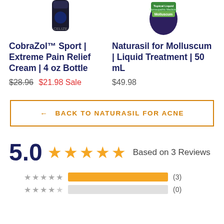[Figure (photo): CobraZol Sport product bottle image (partial, top cropped)]
[Figure (photo): Naturasil for Molluscum product bottle image (partial, top cropped)]
CobraZol™ Sport | Extreme Pain Relief Cream | 4 oz Bottle
$28.96  $21.98 Sale
Naturasil for Molluscum | Liquid Treatment | 50 mL
$49.98
← BACK TO NATURASIL FOR ACNE
5.0 ★★★★★ Based on 3 Reviews
★★★★★ (3)
★★★★☆ (0)